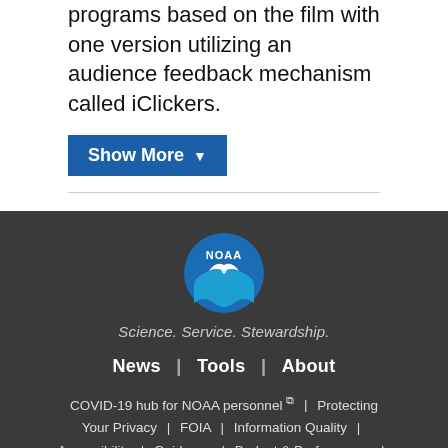programs based on the film with one version utilizing an audience feedback mechanism called iClickers.
Show More ▼
[Figure (logo): NOAA circular logo with blue background, white bird/wave graphic, and NOAA text]
Science. Service. Stewardship.
News | Tools | About
COVID-19 hub for NOAA personnel ↗ | Protecting Your Privacy | FOIA | Information Quality | Accessibility | Guidance | Budget & Performance | Disclaimer | EEO | No Fear Act | USA.gov